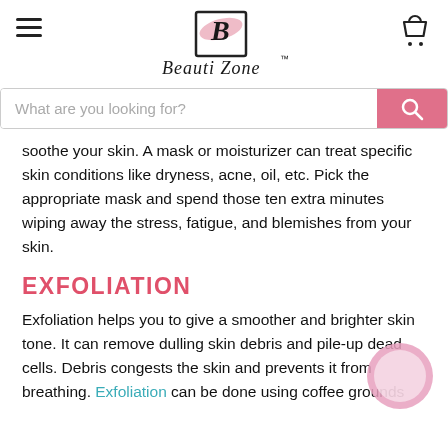Beauti Zone
What are you looking for?
soothe your skin. A mask or moisturizer can treat specific skin conditions like dryness, acne, oil, etc. Pick the appropriate mask and spend those ten extra minutes wiping away the stress, fatigue, and blemishes from your skin.
EXFOLIATION
Exfoliation helps you to give a smoother and brighter skin tone. It can remove dulling skin debris and pile-up dead cells. Debris congests the skin and prevents it from breathing. Exfoliation can be done using coffee grounds